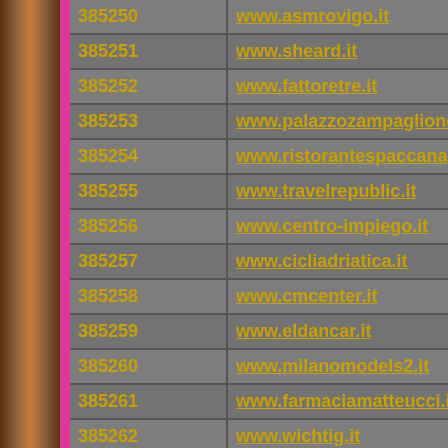| ID | URL |
| --- | --- |
| 385250 | www.asmrovigo.it |
| 385251 | www.sheard.it |
| 385252 | www.fattoretre.it |
| 385253 | www.palazzozampaglione.it |
| 385254 | www.ristorantespaccanapoli.it |
| 385255 | www.travelrepublic.it |
| 385256 | www.centro-impiego.it |
| 385257 | www.cicliadriatica.it |
| 385258 | www.cmcenter.it |
| 385259 | www.eldancar.it |
| 385260 | www.milanomodels2.it |
| 385261 | www.farmaciamatteucci.it |
| 385262 | www.wichtig.it |
| 385263 | www.carrozzeriacavalca.it |
| 385264 | www.consme.it |
| 385265 | www.winbeer.it |